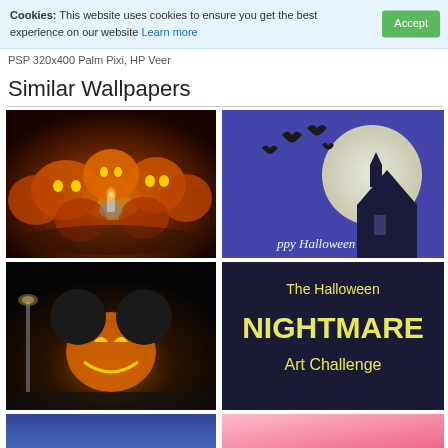Cookies: This website uses cookies to ensure you get the best experience on our website Learn more [Accept]
PSP 320x400 Palm Pixi, HP Veer
Similar Wallpapers
[Figure (photo): Glowing jack-o-lantern pumpkins arranged in a circle with a candle in the center, dark background]
[Figure (illustration): Halloween night scene with large moon, haunted house silhouette, bats flying, text 'Happy Halloween']
[Figure (photo): Dark Halloween scene with Mickey Mouse pumpkin character glowing, street lamps]
[Figure (illustration): Text graphic: 'The Halloween NIGHTMARE Art Challenge' in yellow on dark background]
[Figure (illustration): Partial bottom-left image with blue tones]
[Figure (illustration): Partial bottom-right image with pink/salmon tones]